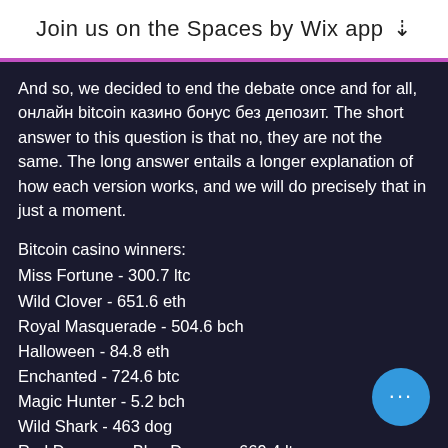Join us on the Spaces by Wix app ↓
And so, we decided to end the debate once and for all, онлайн bitcoin казино бонус без депозит. The short answer to this question is that no, they are not the same. The long answer entails a longer explanation of how each version works, and we will do precisely that in just a moment.
Bitcoin casino winners:
Miss Fortune - 300.7 ltc
Wild Clover - 651.6 eth
Royal Masquerade - 504.6 bch
Halloween - 84.8 eth
Enchanted - 724.6 btc
Magic Hunter - 5.2 bch
Wild Shark - 463 dog
Red Dragon vs Blue Dragon - 669.4 ltc
7 Days Spanish Armada - 649.4 btc
Cloud Tales - 34.1 dog
Cosa Nostra - 373.2 dog